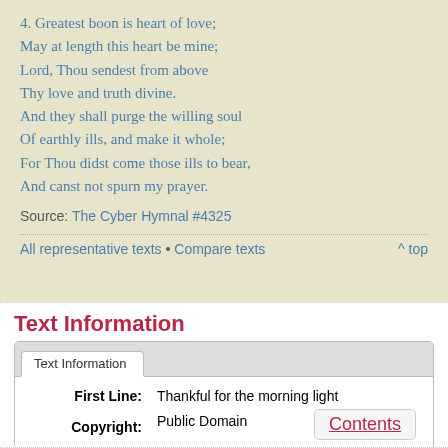4. Greatest boon is heart of love;
May at length this heart be mine;
Lord, Thou sendest from above
Thy love and truth divine.
And they shall purge the willing soul
Of earthly ills, and make it whole;
For Thou didst come those ills to bear,
And canst not spurn my prayer.
Source: The Cyber Hymnal #4325
All representative texts • Compare texts ^ top
Text Information
| Field | Value |
| --- | --- |
| First Line: | Thankful for the morning light |
| Copyright: | Public Domain |